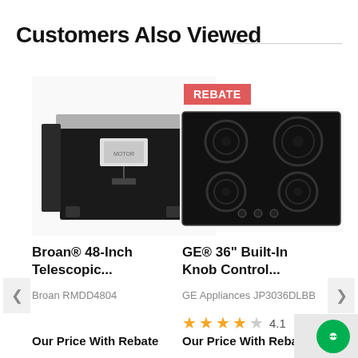Customers Also Viewed
[Figure (photo): Broan 48-Inch Telescopic range hood fan unit, silver and black, viewed from rear/bottom]
Broan® 48-Inch Telescopic...
Broan RMDD4804
Our Price With Rebate
[Figure (photo): GE 36-inch built-in electric cooktop with black glass surface and circular burner rings, with REBATE badge]
GE® 36" Built-In Knob Control...
GE Appliances JP3036DLBB
4.1
Our Price With Rebate